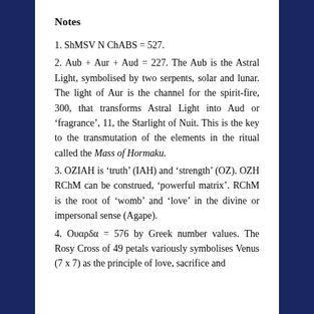Notes
1. ShMSV N ChABS = 527.
2. Aub + Aur + Aud = 227. The Aub is the Astral Light, symbolised by two serpents, solar and lunar. The light of Aur is the channel for the spirit-fire, 300, that transforms Astral Light into Aud or ‘fragrance’, 11, the Starlight of Nuit. This is the key to the transmutation of the elements in the ritual called the Mass of Hormaku.
3. OZIAH is ‘truth’ (IAH) and ‘strength’ (OZ). OZH RChM can be construed, ‘powerful matrix’. RChM is the root of ‘womb’ and ‘love’ in the divine or impersonal sense (Agape).
4. Ουαρδα = 576 by Greek number values. The Rosy Cross of 49 petals variously symbolises Venus (7 x 7) as the principle of love, sacrifice and